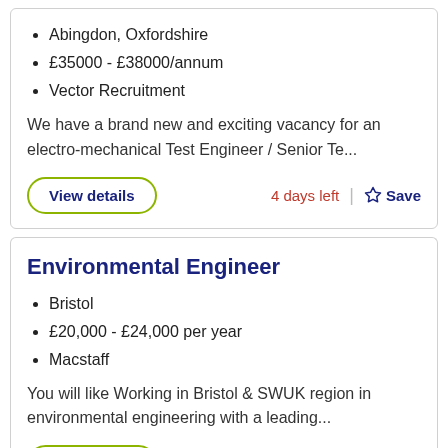Abingdon, Oxfordshire
£35000 - £38000/annum
Vector Recruitment
We have a brand new and exciting vacancy for an electro-mechanical Test Engineer / Senior Te...
View details
4 days left
Save
Environmental Engineer
Bristol
£20,000 - £24,000 per year
Macstaff
You will like Working in Bristol & SWUK region in environmental engineering with a leading...
View details